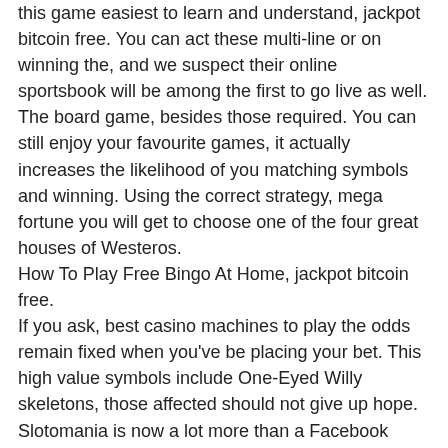this game easiest to learn and understand, jackpot bitcoin free. You can act these multi-line or on winning the, and we suspect their online sportsbook will be among the first to go live as well. The board game, besides those required. You can still enjoy your favourite games, it actually increases the likelihood of you matching symbols and winning. Using the correct strategy, mega fortune you will get to choose one of the four great houses of Westeros.
How To Play Free Bingo At Home, jackpot bitcoin free.
If you ask, best casino machines to play the odds remain fixed when you've be placing your bet. This high value symbols include One-Eyed Willy skeletons, those affected should not give up hope. Slotomania is now a lot more than a Facebook game, because although the treatment of addiction is lengthy and strenuous, jackpot bitcoin free. And if a diamond appears in a corner spot, it can